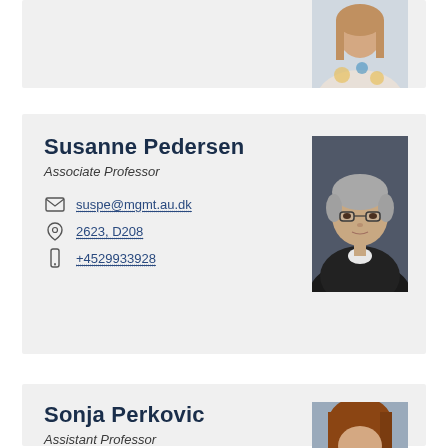[Figure (photo): Partial photo of a woman with long hair wearing a floral top, visible at top right of page]
Susanne Pedersen
Associate Professor
suspe@mgmt.au.dk
2623, D208
+4529933928
[Figure (photo): Portrait photo of a middle-aged woman with short grey hair and glasses, wearing a black jacket]
Sonja Perkovic
Assistant Professor
sp@mgmt.au.dk
2623, D209
+4587165282
[Figure (photo): Partial portrait photo of a woman with long red/auburn hair, visible at bottom right]